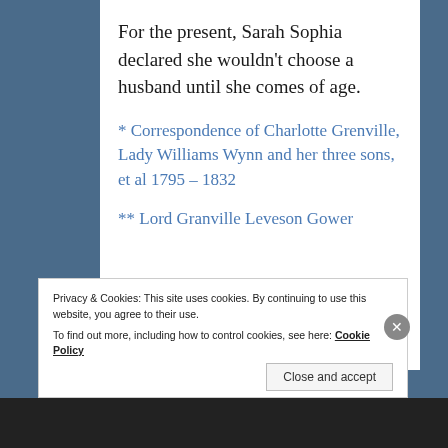For the present, Sarah Sophia declared she wouldn't choose a husband until she comes of age.
* Correspondence of Charlotte Grenville, Lady Williams Wynn and her three sons, et al 1795 – 1832
** Lord Granville Leveson Gower
Privacy & Cookies: This site uses cookies. By continuing to use this website, you agree to their use.
To find out more, including how to control cookies, see here: Cookie Policy
Close and accept